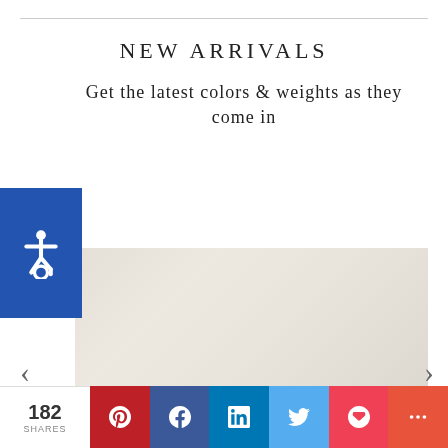NEW ARRIVALS
Get the latest colors & weights as they come in
[Figure (photo): Pale beige/cream fabric or textile swatch with subtle texture]
182 SHARES  [Pinterest] [Facebook] [LinkedIn] [Twitter] [Pocket] [More]